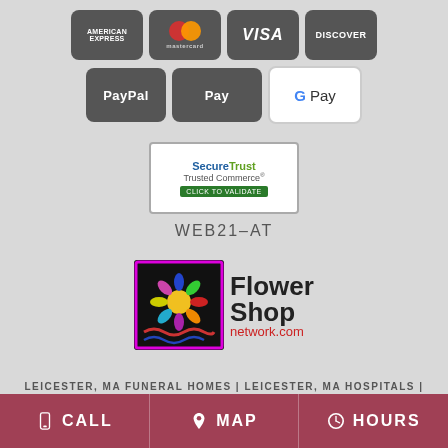[Figure (infographic): Payment method icons: American Express, Mastercard, Visa, Discover, PayPal, Apple Pay, Google Pay]
[Figure (logo): SecureTrust Trusted Commerce - Click to Validate badge]
WEB21-AT
[Figure (logo): Flower Shop Network (flowershopnetwork.com) logo]
LEICESTER, MA FUNERAL HOMES | LEICESTER, MA HOSPITALS | LEICESTER, MA WEDDING FLOWER VENDORS
CALL | MAP | HOURS